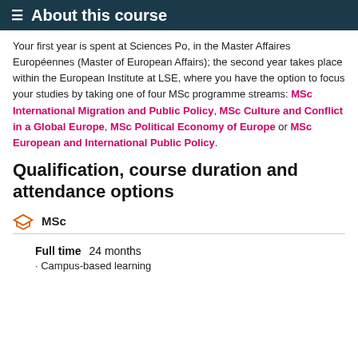About this course
Your first year is spent at Sciences Po, in the Master Affaires Européennes (Master of European Affairs); the second year takes place within the European Institute at LSE, where you have the option to focus your studies by taking one of four MSc programme streams: MSc International Migration and Public Policy, MSc Culture and Conflict in a Global Europe, MSc Political Economy of Europe or MSc European and International Public Policy.
Qualification, course duration and attendance options
MSc
Full time  24 months
· Campus-based learning